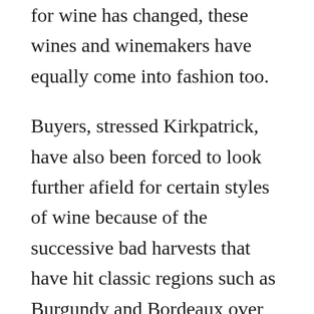for wine has changed, these wines and winemakers have equally come into fashion too.
Buyers, stressed Kirkpatrick, have also been forced to look further afield for certain styles of wine because of the successive bad harvests that have hit classic regions such as Burgundy and Bordeaux over the last five years. California with its consistent styles and reputation for quality has therefore